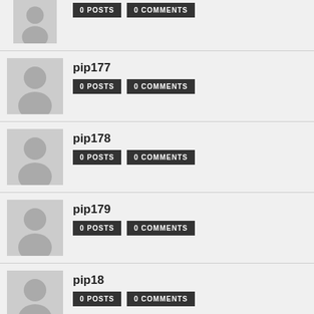[Figure (illustration): Partial user row at top showing avatar and two dark badges, cropped]
pip177 — 0 POSTS, 0 COMMENTS
pip178 — 0 POSTS, 0 COMMENTS
pip179 — 0 POSTS, 0 COMMENTS
pip18 — 0 POSTS, 0 COMMENTS
pip180 — 0 POSTS, 0 COMMENTS (partial)